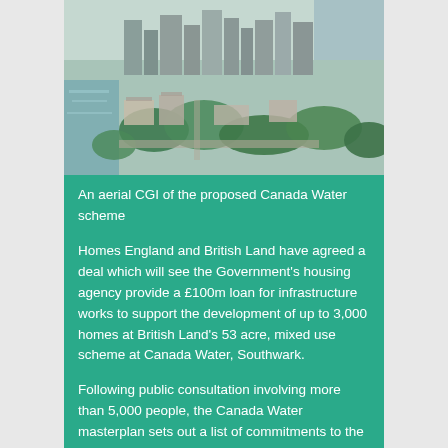[Figure (photo): Aerial CGI photograph of the proposed Canada Water development scheme showing buildings, waterways, and green spaces in London]
An aerial CGI of the proposed Canada Water scheme
Homes England and British Land have agreed a deal which will see the Government's housing agency provide a £100m loan for infrastructure works to support the development of up to 3,000 homes at British Land's 53 acre, mixed use scheme at Canada Water, Southwark.
Following public consultation involving more than 5,000 people, the Canada Water masterplan sets out a list of commitments to the local area, including affordable homes for local people in a new town centre, a £30m investment from British Land in transport